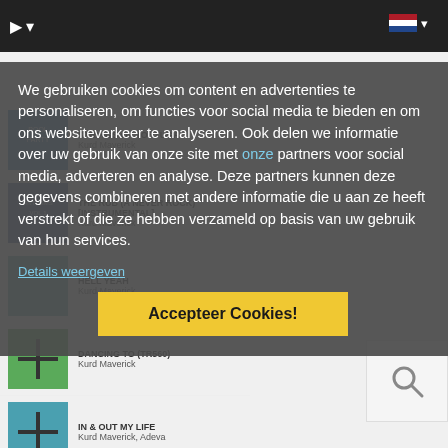[Figure (screenshot): Music streaming website screenshot showing track listings for Kurd Maverick with album thumbnails and song titles]
We gebruiken cookies om content en advertenties te personaliseren, om functies voor social media te bieden en om ons websiteverkeer te analyseren. Ook delen we informatie over uw gebruik van onze site met onze partners voor social media, adverteren en analyse. Deze partners kunnen deze gegevens combineren met andere informatie die u aan ze heeft verstrekt of die ze hebben verzameld op basis van uw gebruik van hun services.
Details weergeven
Accepteer Cookies!